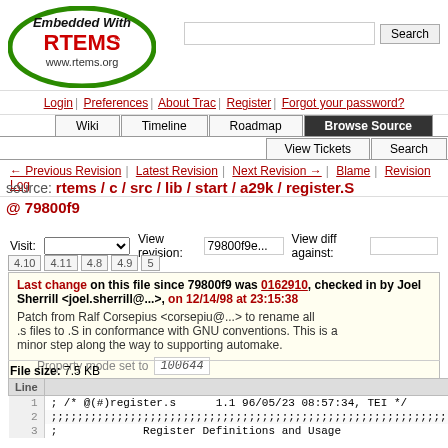[Figure (logo): Embedded With RTEMS logo - green oval with black italic bold text 'Embedded With' and red bold 'RTEMS' and www.rtems.org]
Login | Preferences | About Trac | Register | Forgot your password?
Wiki | Timeline | Roadmap | Browse Source | View Tickets | Search
← Previous Revision | Latest Revision | Next Revision → | Blame | Revision Log
source: rtems / c / src / lib / start / a29k / register.S @ 79800f9
Visit: [dropdown] View revision: 79800f9e... View diff against: [input]
4.10  4.11  4.8  4.9  5
Last change on this file since 79800f9 was 0162910, checked in by Joel Sherrill <joel.sherrill@...>, on 12/14/98 at 23:15:38
Patch from Ralf Corsepius <corsepiu@...> to rename all .s files to .S in conformance with GNU conventions. This is a minor step along the way to supporting automake.
Property mode set to 100644
File size: 7.5 KB
| Line |  |
| --- | --- |
| 1 | ; /* @(#)register.s      1.1 96/05/23 08:57:34, TEI */ |
| 2 | ;;;;;;;;;;;;;;;;;;;;;;;;;;;;;;;;;;;;;;;;;;;;;;;;;;;;;;;;;;; |
| 3 | ;              Register Definitions and Usage |